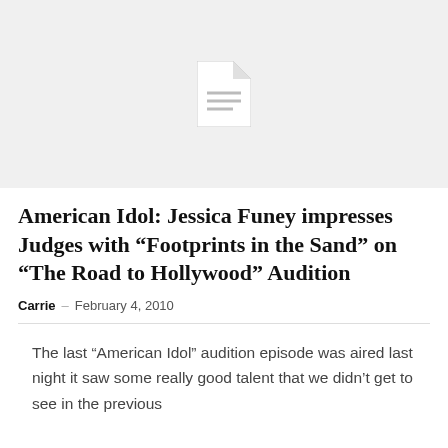[Figure (illustration): Gray placeholder image area with a white document/file icon in the center]
American Idol: Jessica Funey impresses Judges with “Footprints in the Sand” on “The Road to Hollywood” Audition
Carrie – February 4, 2010
The last “American Idol” audition episode was aired last night it saw some really good talent that we didn’t get to see in the previous